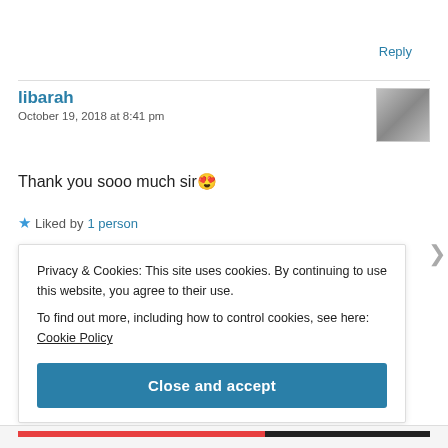Reply
libarah
October 19, 2018 at 8:41 pm
Thank you sooo much sir 😍
★ Liked by 1 person
Privacy & Cookies: This site uses cookies. By continuing to use this website, you agree to their use.
To find out more, including how to control cookies, see here: Cookie Policy
Close and accept